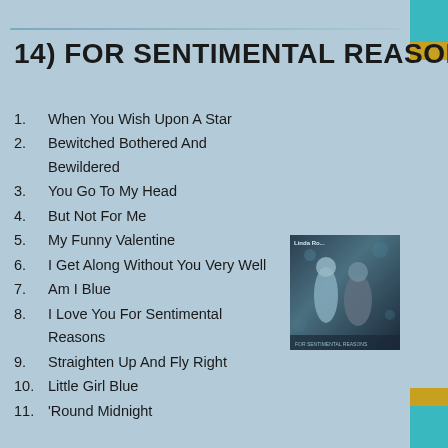14) FOR SENTIMENTAL REASONS
1. When You Wish Upon A Star
2. Bewitched Bothered And Bewildered
3. You Go To My Head
4. But Not For Me
5. My Funny Valentine
6. I Get Along Without You Very Well
7. Am I Blue
8. I Love You For Sentimental Reasons
9. Straighten Up And Fly Right
10. Little Girl Blue
11. 'Round Midnight
[Figure (photo): Album cover photo showing two people, likely Linda Ronstadt and another artist, with a dark atmospheric background]